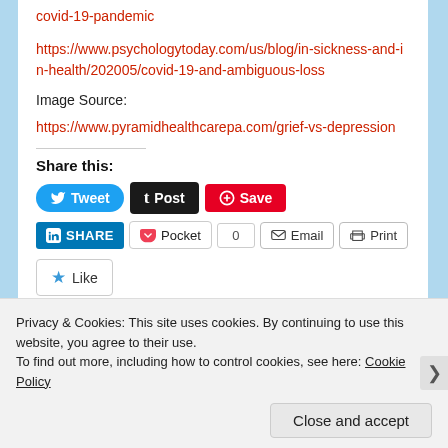covid-19-pandemic
https://www.psychologytoday.com/us/blog/in-sickness-and-in-health/202005/covid-19-and-ambiguous-loss
Image Source:
https://www.pyramidhealthcarepa.com/grief-vs-depression
Share this:
Tweet Post Save
SHARE Pocket 0 Email Print
Like
Privacy & Cookies: This site uses cookies. By continuing to use this website, you agree to their use.
To find out more, including how to control cookies, see here: Cookie Policy
Close and accept